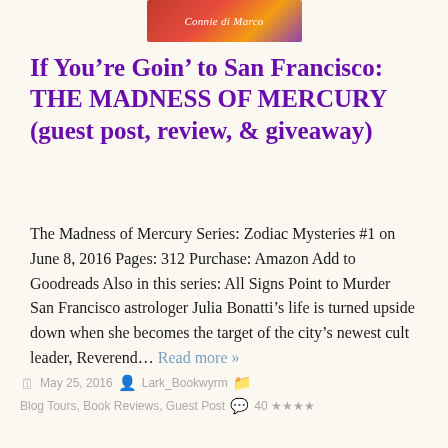[Figure (illustration): Book cover image showing 'Connie di Marco' text on a colorful gradient background]
If You're Goin' to San Francisco: THE MADNESS OF MERCURY (guest post, review, & giveaway)
The Madness of Mercury Series: Zodiac Mysteries #1 on June 8, 2016 Pages: 312 Purchase: Amazon Add to Goodreads Also in this series: All Signs Point to Murder San Francisco astrologer Julia Bonatti's life is turned upside down when she becomes the target of the city's newest cult leader, Reverend… Read more »
May 25, 2016  Lark_Bookwyrm  Blog Tours, Book Reviews, Guest Post  40 ★★★★